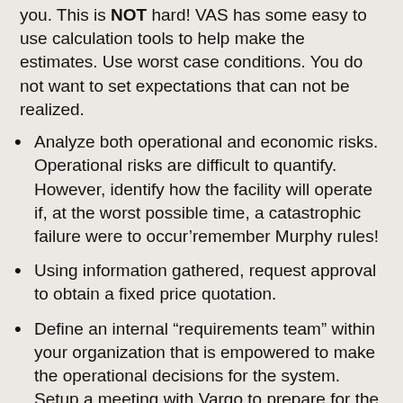you. This is NOT hard! VAS has some easy to use calculation tools to help make the estimates. Use worst case conditions. You do not want to set expectations that can not be realized.
Analyze both operational and economic risks. Operational risks are difficult to quantify. However, identify how the facility will operate if, at the worst possible time, a catastrophic failure were to occur’remember Murphy rules!
Using information gathered, request approval to obtain a fixed price quotation.
Define an internal “requirements team” within your organization that is empowered to make the operational decisions for the system. Setup a meeting with Vargo to prepare for the